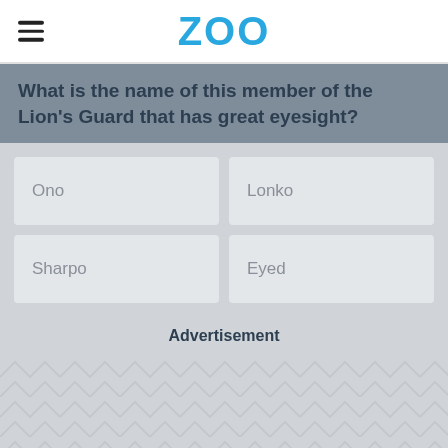ZOO
What is the name of this member of the Lion's Guard that has great eyesight?
Ono
Lonko
Sharpo
Eyed
Advertisement